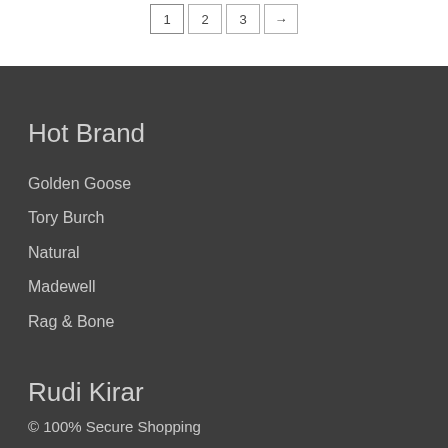1  2  3  →
Hot Brand
Golden Goose
Tory Burch
Natural
Madewell
Rag & Bone
Rudi Kirar
© 100% Secure Shopping